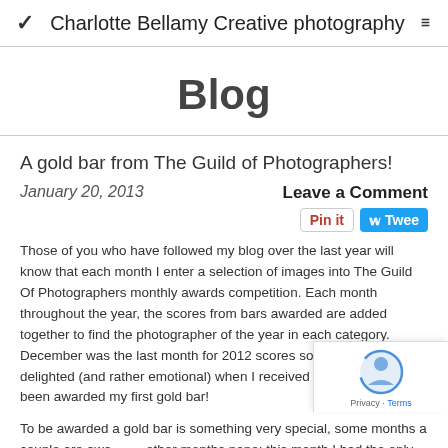Charlotte Bellamy Creative photography
Blog
A gold bar from The Guild of Photographers!
January 20, 2013
Leave a Comment
Those of you who have followed my blog over the last year will know that each month I enter a selection of images into The Guild Of Photographers monthly awards competition. Each month throughout the year, the scores from bars awarded are added together to find the photographer of the year in each category. December was the last month for 2012 scores so I was completely delighted (and rather emotional) when I received news that I had been awarded my first gold bar!
To be awarded a gold bar is something very special, some months a couple are awarded, other months none; this month I had the only one, and my image was also awarded image of the month as well!
So, here is my gold bar image. Taken a couple of weeks ago on a very cold, misty and snowy